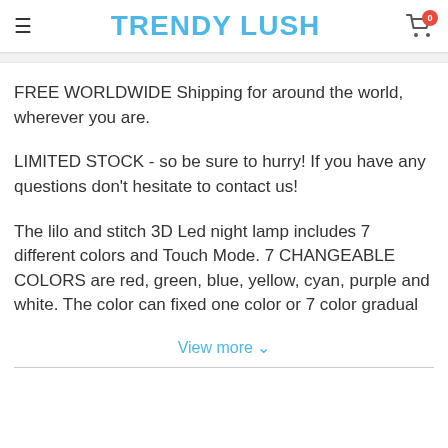TRENDY LUSH
FREE WORLDWIDE Shipping for around the world, wherever you are.
LIMITED STOCK - so be sure to hurry! If you have any questions don't hesitate to contact us!
The lilo and stitch 3D Led night lamp includes 7 different colors and Touch Mode. 7 CHANGEABLE COLORS are red, green, blue, yellow, cyan, purple and white. The color can fixed one color or 7 color gradual
View more ∨